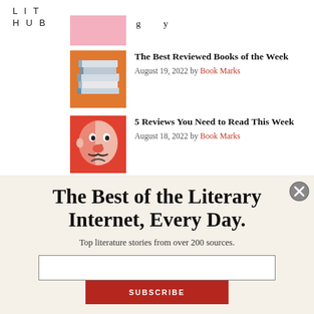LIT HUB
[Figure (illustration): Partial pink/cream image clipped at top, partially visible]
The Best Reviewed Books of the Week — August 19, 2022 by Book Marks
[Figure (illustration): Stack of books on orange background]
5 Reviews You Need to Read This Week — August 18, 2022 by Book Marks
[Figure (illustration): Illustrated face/portrait on orange/red background]
The Best of the Literary Internet, Every Day.
Top literature stories from over 200 sources.
SUBSCRIBE